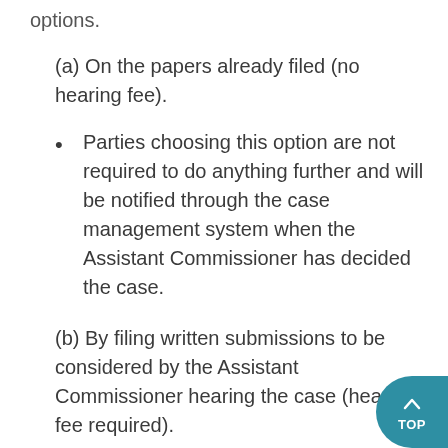options.
(a) On the papers already filed (no hearing fee).
Parties choosing this option are not required to do anything further and will be notified through the case management system when the Assistant Commissioner has decided the case.
(b) By filing written submissions to be considered by the Assistant Commissioner hearing the case (hearing fee required).
Parties choosing this option will be set a task through the case management system to file their written submissio…